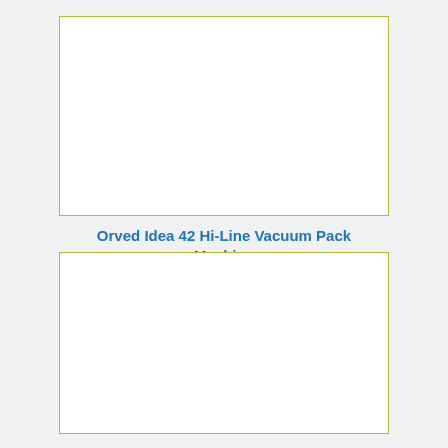[Figure (photo): Empty white image placeholder with olive/yellow-green border for Orved Idea 42 Hi-Line Vacuum Pack Machine]
Orved Idea 42 Hi-Line Vacuum Pack Machine
[Figure (photo): Empty white image placeholder with olive/yellow-green border for Orved Idea 31 Vacuum Packing]
Orved Idea 31 Vacuum Packing